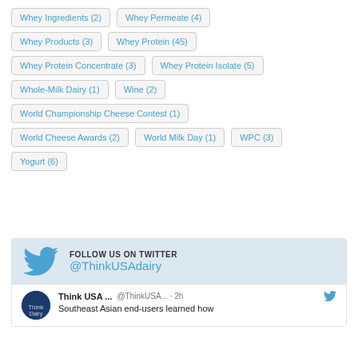Whey Ingredients (2)
Whey Permeate (4)
Whey Products (3)
Whey Protein (45)
Whey Protein Concentrate (3)
Whey Protein Isolate (5)
Whole-Milk Dairy (1)
Wine (2)
World Championship Cheese Contest (1)
World Cheese Awards (2)
World Milk Day (1)
WPC (3)
Yogurt (6)
FOLLOW US ON TWITTER @ThinkUSAdairy
Think USA ... @ThinkUSA... · 2h Southeast Asian end-users learned how